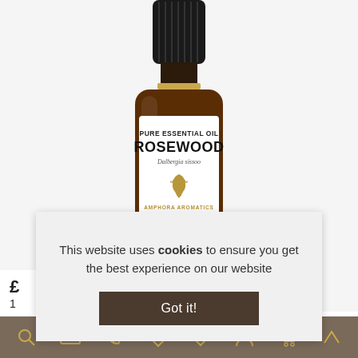[Figure (photo): Amber glass essential oil bottle labeled ROSEWOOD Pure Essential Oil by Amphora Aromatics Limited, 10ml, Dalbergia sissoo]
This website uses cookies to ensure you get the best experience on our website
Got it!
[Figure (other): Navigation icon bar with search, email, phone, discount tag, heart/wishlist, account, cart, and up-arrow icons in gold on brown background]